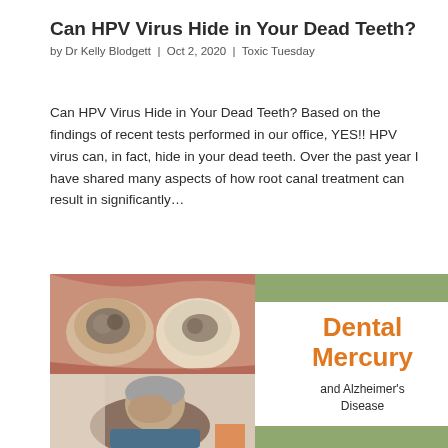Can HPV Virus Hide in Your Dead Teeth?
by Dr Kelly Blodgett  |  Oct 2, 2020  |  Toxic Tuesday
Can HPV Virus Hide in Your Dead Teeth? Based on the findings of recent tests performed in our office, YES!! HPV virus can, in fact, hide in your dead teeth. Over the past year I have shared many aspects of how root canal treatment can result in significantly...
[Figure (photo): Close-up photograph of teeth with silver amalgam fillings]
[Figure (photo): Hamburger menu icon (two horizontal lines)]
[Figure (photo): Elderly person with gray hair covering face with hands, appearing distressed]
[Figure (infographic): Card with green bars top and bottom, orange text reading 'Dental Mercury' and black text 'and Alzheimer's Disease']